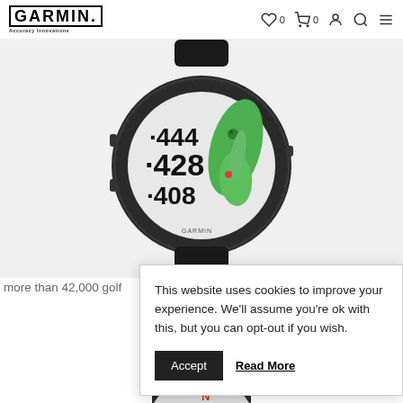GARMIN | Accuracy Innovations — navigation icons, cart (0), wishlist (0), account, search, menu
[Figure (photo): Garmin GPS golf watch (fenix series) displayed face-up showing a golf course hole map in green with yardage distances: 444, 428, 408. Watch has dark bezel and black band, on light grey background.]
more than 42,000 golf
This website uses cookies to improve your experience. We'll assume you're ok with this, but you can opt-out if you wish.
Accept   Read More
[Figure (photo): Partial view of another Garmin watch face showing compass/navigation display with 330 and N visible.]